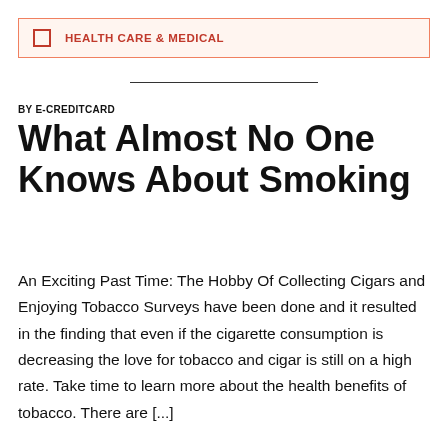HEALTH CARE & MEDICAL
BY E-CREDITCARD
What Almost No One Knows About Smoking
An Exciting Past Time: The Hobby Of Collecting Cigars and Enjoying Tobacco Surveys have been done and it resulted in the finding that even if the cigarette consumption is decreasing the love for tobacco and cigar is still on a high rate. Take time to learn more about the health benefits of tobacco. There are [...]